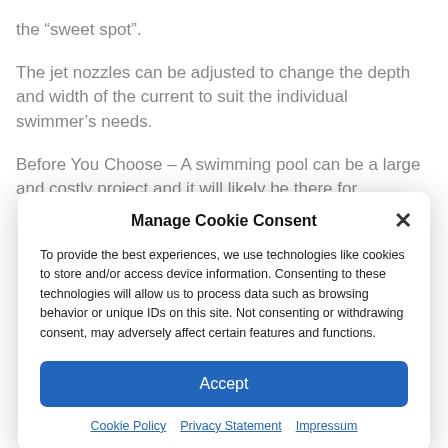the “sweet spot”.
The jet nozzles can be adjusted to change the depth and width of the current to suit the individual swimmer’s needs.
Before You Choose – A swimming pool can be a large and costly project and it will likely be there for
Manage Cookie Consent
To provide the best experiences, we use technologies like cookies to store and/or access device information. Consenting to these technologies will allow us to process data such as browsing behavior or unique IDs on this site. Not consenting or withdrawing consent, may adversely affect certain features and functions.
Accept
Cookie Policy  Privacy Statement  Impressum